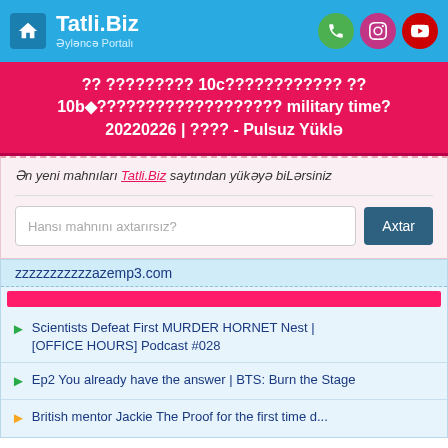Tatli.Biz — Əyləncə Portalı
?? ????????? 10c???????????? ?? 10b◆??????????????????? military time? 20220226 | ???? - Pulsuz Yüklə
Ən yeni mahnıları Tatli.Biz saytından yükəyə biLərsiniz
Hansı mahnını axtarırsız?
zzzzzzzzzzzazemp3.com
Scientists Defeat First MURDER HORNET Nest | [OFFICE HOURS] Podcast #028
Ep2 You already have the answer | BTS: Burn the Stage
British mentor Jackie The Proof for the first time d...